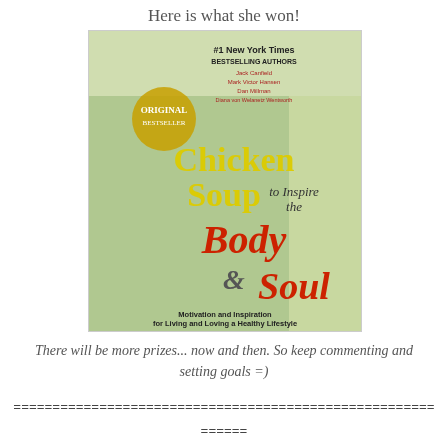Here is what she won!
[Figure (photo): Book cover of 'Chicken Soup to Inspire the Body & Soul' by Jack Canfield, Mark Victor Hansen, Dan Millman, Diana von Welanetz Wentworth. #1 New York Times Bestselling Authors. Subtitle: Motivation and Inspiration for Living and Loving a Healthy Lifestyle.]
There will be more prizes... now and then.  So keep commenting and setting goals =)
======================================================
======